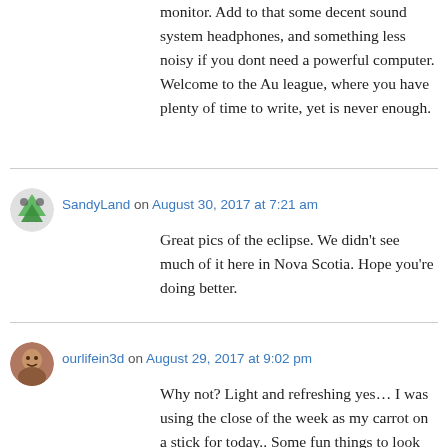monitor. Add to that some decent sound system headphones, and something less noisy if you dont need a powerful computer.
Welcome to the Au league, where you have plenty of time to write, yet is never enough.
SandyLand on August 30, 2017 at 7:21 am
Great pics of the eclipse. We didn't see much of it here in Nova Scotia. Hope you're doing better.
ourlifein3d on August 29, 2017 at 9:02 pm
Why not? Light and refreshing yes… I was using the close of the week as my carrot on a stick for today.. Some fun things to look forward to.